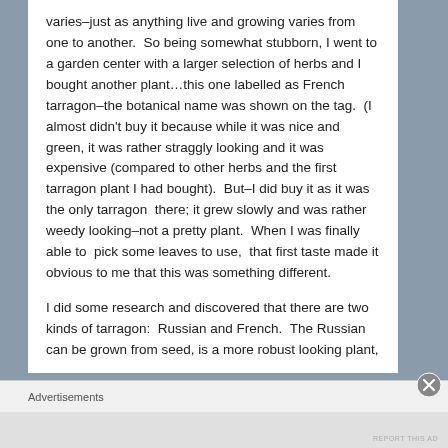varies–just as anything live and growing varies from one to another.  So being somewhat stubborn, I went to a garden center with a larger selection of herbs and I bought another plant…this one labelled as French tarragon–the botanical name was shown on the tag.  (I almost didn't buy it because while it was nice and green, it was rather straggly looking and it was expensive (compared to other herbs and the first tarragon plant I had bought).  But–I did buy it as it was the only tarragon  there; it grew slowly and was rather weedy looking–not a pretty plant.  When I was finally able to  pick some leaves to use,  that first taste made it obvious to me that this was something different.
I did some research and discovered that there are two kinds of tarragon:  Russian and French.  The Russian can be grown from seed, is a more robust looking plant,
Advertisements